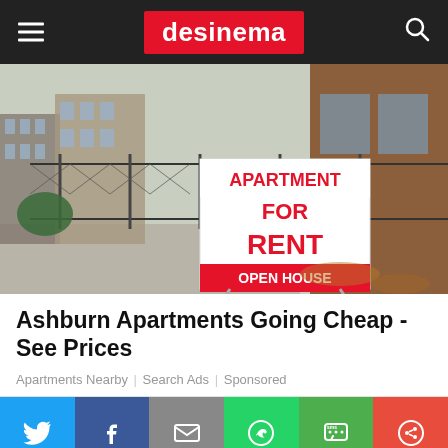desinema
[Figure (photo): Street scene with an 'Apartment For Rent - Open House' sign in front of a chain-link fence, brick buildings in background]
Ashburn Apartments Going Cheap - See Prices
Apartments Nearby | Search Ads | Sponsored
[Figure (infographic): Social sharing bar with Twitter, Facebook, Email, WhatsApp, SMS, and Share icons]